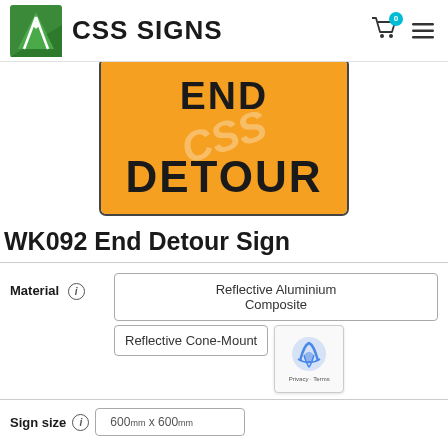CSS SIGNS
[Figure (photo): Orange rectangular road sign with black bold text reading 'END DETOUR' with a watermark 'CSS' across it, bordered by dark grey rounded rectangle]
WK092 End Detour Sign
| Material | Options |
| --- | --- |
| Material (i) | Reflective Aluminium Composite | Reflective Cone-Mount |
Sign size (i): 600mm x 600mm